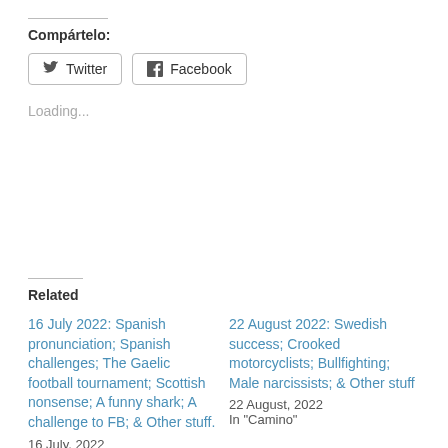Compártelo:
Twitter  Facebook
Loading...
Related
16 July 2022: Spanish pronunciation; Spanish challenges; The Gaelic football tournament; Scottish nonsense; A funny shark; A challenge to FB; & Other stuff.
16 July, 2022
In "Camino"
22 August 2022: Swedish success; Crooked motorcyclists; Bullfighting; Male narcissists; & Other stuff
22 August, 2022
In "Camino"